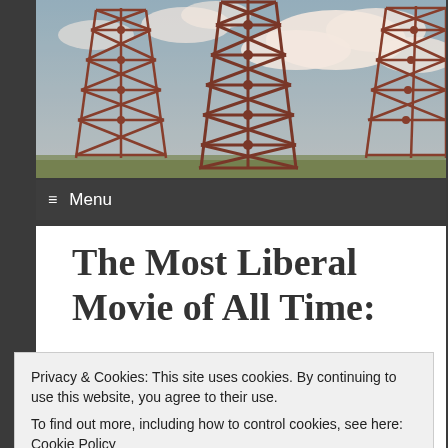[Figure (photo): Photograph of electrical transmission towers/pylons against a cloudy blue sky, rendered in a warm sepia/vintage tone]
≡ Menu
The Most Liberal Movie of All Time:
Privacy & Cookies: This site uses cookies. By continuing to use this website, you agree to their use.
To find out more, including how to control cookies, see here: Cookie Policy
Close and accept
they don't know how lucky they are." – Pleasantville